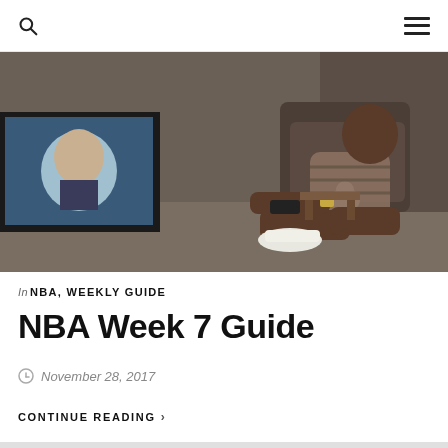Search | Menu
[Figure (photo): A man sitting on the floor watching a television, holding a remote control. A CRT TV shows a person on screen. There is a recliner chair in the background.]
In NBA, WEEKLY GUIDE
NBA Week 7 Guide
November 28, 2017
CONTINUE READING >